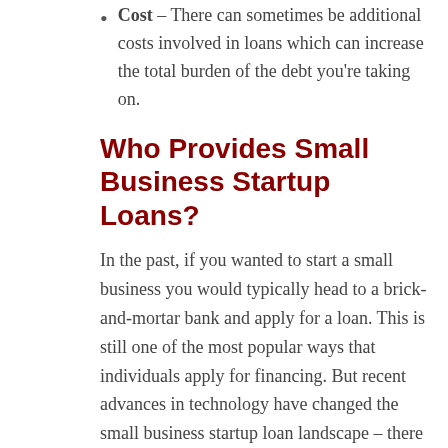Cost – There can sometimes be additional costs involved in loans which can increase the total burden of the debt you're taking on.
Who Provides Small Business Startup Loans?
In the past, if you wanted to start a small business you would typically head to a brick-and-mortar bank and apply for a loan. This is still one of the most popular ways that individuals apply for financing. But recent advances in technology have changed the small business startup loan landscape – there are now a range of different choices when it comes to small business financing.
Many traditional banks still offer the best interest rates on the market, but they also